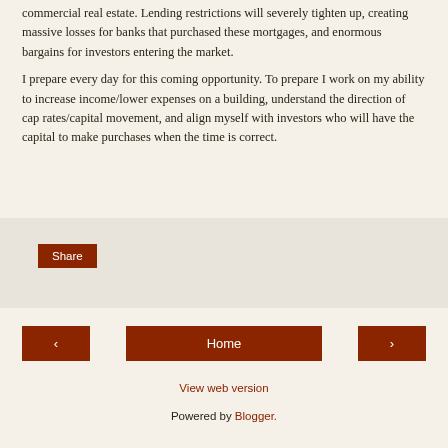commercial real estate. Lending restrictions will severely tighten up, creating massive losses for banks that purchased these mortgages, and enormous bargains for investors entering the market.
I prepare every day for this coming opportunity. To prepare I work on my ability to increase income/lower expenses on a building, understand the direction of cap rates/capital movement, and align myself with investors who will have the capital to make purchases when the time is correct.
[Figure (other): Social share button area with a red 'Share' button on a light grey background]
[Figure (other): Navigation row with left arrow button, Home button, and right arrow button, all in dark red/brown color]
View web version
Powered by Blogger.